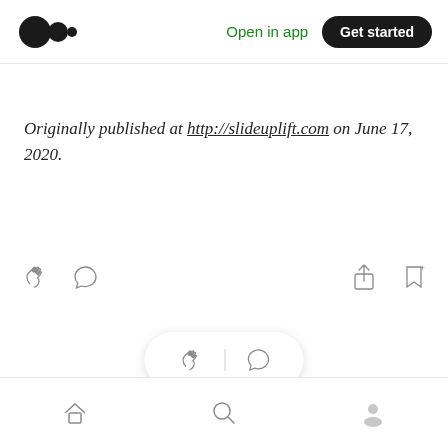Medium logo | Open in app | Get started
Originally published at http://slideuplift.com on June 17, 2020.
[Figure (screenshot): Article action bar with clap, comment, share, and bookmark icons]
[Figure (screenshot): Floating pill with clap and comment icons]
More from SlideUpLift
Bottom navigation bar with home, search, and profile icons